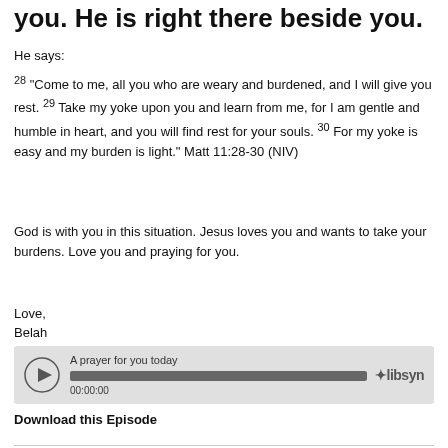you. He is right there beside you.
He says:
28 “Come to me, all you who are weary and burdened, and I will give you rest. 29 Take my yoke upon you and learn from me, for I am gentle and humble in heart, and you will find rest for your souls. 30 For my yoke is easy and my burden is light.” Matt 11:28-30 (NIV)
God is with you in this situation. Jesus loves you and wants to take your burdens. Love you and praying for you.
Love,
Belah
[Figure (other): Audio player widget showing 'A prayer for you today' with play button, progress bar at 00:00:00, and libsyn logo]
Download this Episode